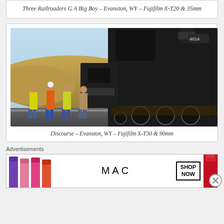Three Railroaders G A Big Boy – Evanston, WY – Fujifilm X-T20 & 35mm
[Figure (photo): Workers in high-visibility vests standing beside a large steam locomotive (Big Boy #4014) in Evanston, WY. The locomotive is massive and dark, with hills and blue sky in the background. Several workers in orange and yellow safety vests are visible.]
Discourse – Evanston, WY – Fujifilm X-T30 & 90mm
Advertisements
[Figure (photo): MAC cosmetics advertisement banner showing lipsticks in purple, pink, and red colors, with MAC logo and SHOP NOW call-to-action box.]